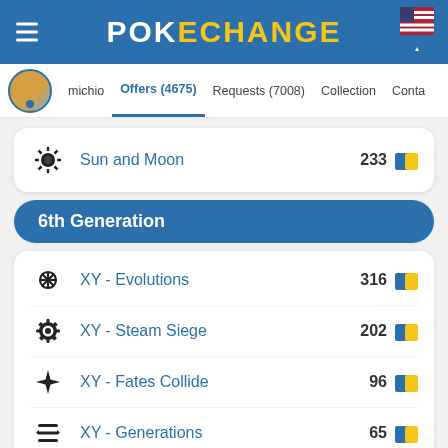POKECHANGE
michio | Offers (4675) | Requests (7008) | Collection | Conta
Sun and Moon  233
6th Generation
XY - Evolutions  316
XY - Steam Siege  202
XY - Fates Collide  96
XY - Generations  65
Trade without ads with Pokéchange MAX★